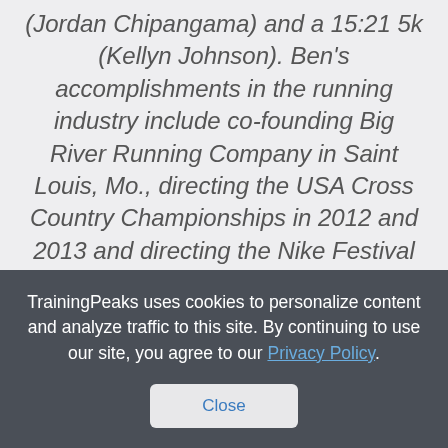(Jordan Chipangama) and a 15:21 5k (Kellyn Johnson). Ben's accomplishments in the running industry include co-founding Big River Running Company in Saint Louis, Mo., directing the USA Cross Country Championships in 2012 and 2013 and directing the Nike Festival of Miles charity track meet. He has also created NAZ Elite training plans to help runners of all abilities.
TrainingPeaks uses cookies to personalize content and analyze traffic to this site. By continuing to use our site, you agree to our Privacy Policy.
Close